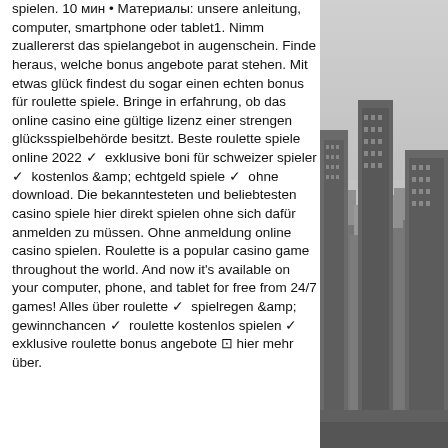spielen. 10 мин • Материалы: unsere anleitung, computer, smartphone oder tablet1. Nimm zuallererst das spielangebot in augenschein. Finde heraus, welche bonus angebote parat stehen. Mit etwas glück findest du sogar einen echten bonus für roulette spiele. Bringe in erfahrung, ob das online casino eine gültige lizenz einer strengen glücksspielbehörde besitzt. Beste roulette spiele online 2022 ✓ exklusive boni für schweizer spieler ✓ kostenlos &amp; echtgeld spiele ✓ ohne download. Die bekanntesteten und beliebtesten casino spiele hier direkt spielen ohne sich dafür anmelden zu müssen. Ohne anmeldung online casino spielen. Roulette is a popular casino game throughout the world. And now it's available on your computer, phone, and tablet for free from 24/7 games! Alles über roulette ✓ spielregen &amp; gewinnchancen ✓ roulette kostenlos spielen ✓ exklusive roulette bonus angebote ⊡ hier mehr über.
[Figure (photo): Grayscale aerial photo of city skyline with skyscrapers, viewed from above at an angle.]